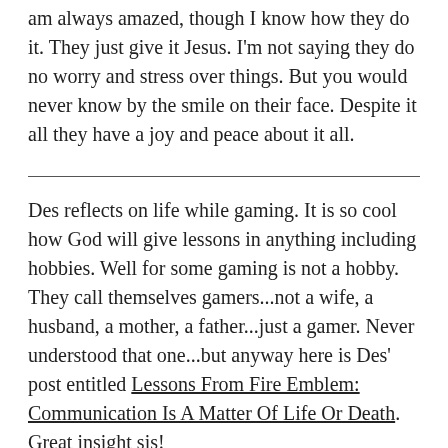am always amazed, though I know how they do it. They just give it Jesus. I'm not saying they do no worry and stress over things. But you would never know by the smile on their face. Despite it all they have a joy and peace about it all.
Des reflects on life while gaming. It is so cool how God will give lessons in anything including hobbies. Well for some gaming is not a hobby. They call themselves gamers...not a wife, a husband, a mother, a father...just a gamer. Never understood that one...but anyway here is Des' post entitled Lessons From Fire Emblem: Communication Is A Matter Of Life Or Death. Great insight sis!